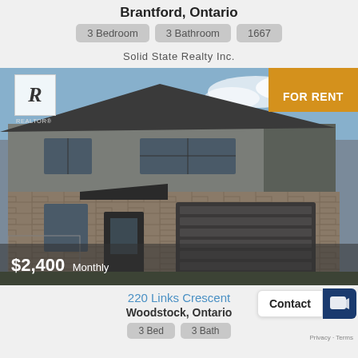Brantford, Ontario
3 Bedroom   3 Bathroom   1667
Solid State Realty Inc.
[Figure (photo): Exterior photo of a two-storey townhome with brick and grey siding, dark roof, single-car garage, and FOR RENT badge in orange. Realtor logo in top left. Price overlay: $2,400 Monthly.]
220 Links Crescent
Woodstock, Ontario